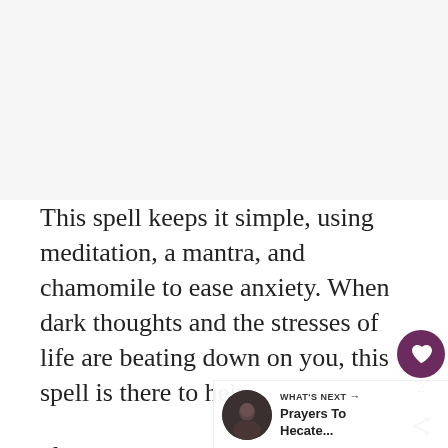[Figure (photo): Gray/white empty image area at top of page]
This spell keeps it simple, using meditation, a mantra, and chamomile to ease anxiety. When dark thoughts and the stresses of life are beating down on you, this spell is there to help.
If you have an anxiety disorder like generalized anxiety disorder, please use this
[Figure (infographic): Social interaction buttons: heart/like button (purple circle with heart icon) with count 2, and share button (white circle with share icon)]
[Figure (infographic): What's Next banner showing a circular thumbnail photo and text: WHAT'S NEXT → Prayers To Hecate...]